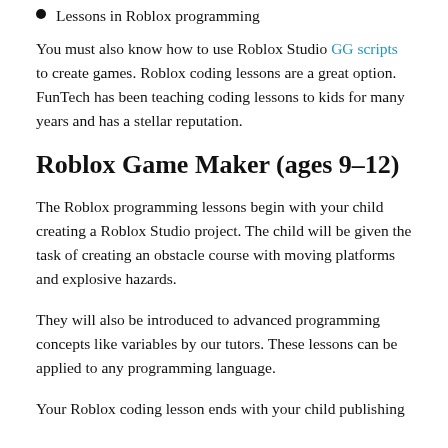Lessons in Roblox programming
You must also know how to use Roblox Studio GG scripts to create games. Roblox coding lessons are a great option. FunTech has been teaching coding lessons to kids for many years and has a stellar reputation.
Roblox Game Maker (ages 9–12)
The Roblox programming lessons begin with your child creating a Roblox Studio project. The child will be given the task of creating an obstacle course with moving platforms and explosive hazards.
They will also be introduced to advanced programming concepts like variables by our tutors. These lessons can be applied to any programming language.
Your Roblox coding lesson ends with your child publishing